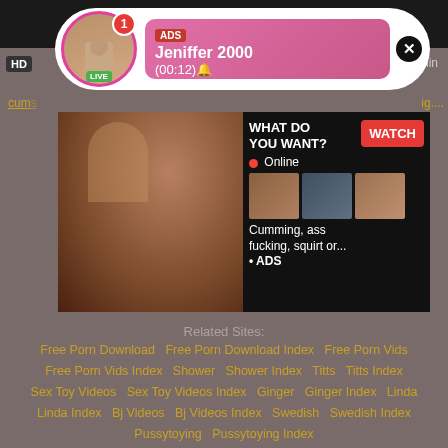[Figure (screenshot): Adult website advertisement popup showing a live notification with profile picture, ADS label, name Jeniffer 2000, timestamp (00:12), and a close button]
[Figure (screenshot): Adult ad banner with female photo on left, WHAT DO YOU WANT? text, WATCH button, Online indicator, thumbnail images, and text: Cumming, ass fucking, squirt or... ADS]
Related Sites:
Free Porn Download   Free Porn Download Index   Free Porn Vids   Free Porn Vids Index   Shower   Shower Index   Titts   Titts Index   Sex Toy Videos   Sex Toy Videos Index   Ginger   Ginger Index   Linda   Linda Index   Bj Videos   Bj Videos Index   Swedish   Swedish Index   Pussytoying   Pussytoying Index